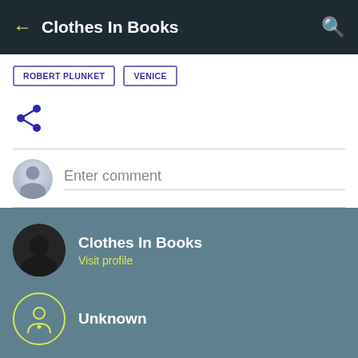Clothes In Books
ROBERT PLUNKET
VENICE
[Figure (infographic): Share icon (arrow with dots)]
Enter comment
[Figure (photo): Profile photo for Clothes In Books blog]
Clothes In Books
Visit profile
Unknown